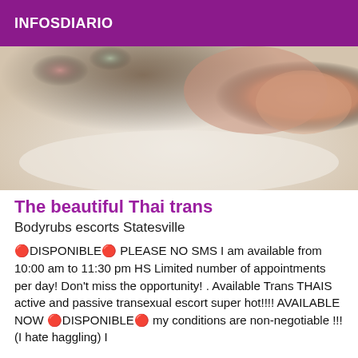INFOSDIARIO
[Figure (photo): A close-up photograph showing skin and floral patterned fabric in warm tones]
The beautiful Thai trans
Bodyrubs escorts Statesville
🔴DISPONIBLE🔴 PLEASE NO SMS I am available from 10:00 am to 11:30 pm HS Limited number of appointments per day! Don't miss the opportunity! . Available Trans THAIS active and passive transexual escort super hot!!!! AVAILABLE NOW 🔴DISPONIBLE🔴 my conditions are non-negotiable !!! (I hate haggling) I